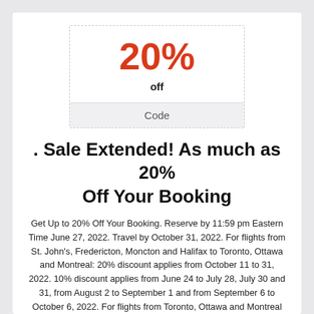[Figure (infographic): Coupon box with 20% off and a Code section]
. Sale Extended! As much as 20% Off Your Booking
Get Up to 20% Off Your Booking. Reserve by 11:59 pm Eastern Time June 27, 2022. Travel by October 31, 2022. For flights from St. John's, Fredericton, Moncton and Halifax to Toronto, Ottawa and Montreal: 20% discount applies from October 11 to 31, 2022. 10% discount applies from June 24 to July 28, July 30 and 31, from August 2 to September 1 and from September 6 to October 6, 2022. For flights from Toronto, Ottawa and Montreal to St. John's, Fredericton, Moncton and Halifax: 20% discount applies from October 11 to 31, 2022. 10% discount applies from June 24 to July 28, July 30 and 31,